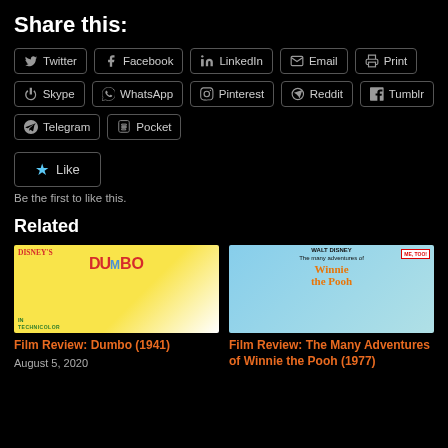Share this:
Twitter  Facebook  LinkedIn  Email  Print
Skype  WhatsApp  Pinterest  Reddit  Tumblr
Telegram  Pocket
Like  Be the first to like this.
Related
[Figure (photo): Movie poster for Disney's Dumbo in Technicolor]
Film Review: Dumbo (1941)
August 5, 2020
[Figure (photo): Movie poster for Walt Disney's The Many Adventures of Winnie the Pooh, Me Too!]
Film Review: The Many Adventures of Winnie the Pooh (1977)